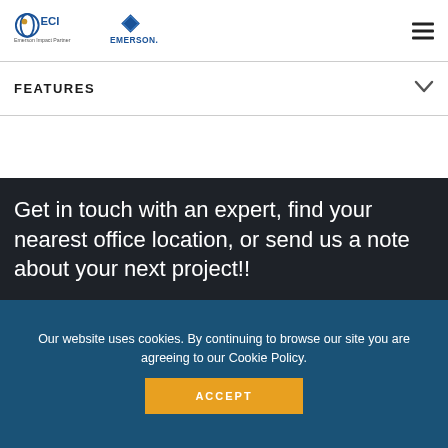[Figure (logo): ECI Emerson Impact Partner logo and Emerson logo side by side in the header]
FEATURES
Get in touch with an expert, find your nearest office location, or send us a note about your next project!!
TALK TO ONE OF OUR EXPERTS IN THIS FIELD
Our website uses cookies. By continuing to browse our site you are agreeing to our Cookie Policy.
ACCEPT